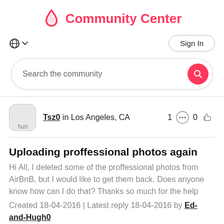Community Center
Search the community
Tsz0 in Los Angeles, CA   1  0
Uploading proffessional photos again
Hi All, I deleted some of the proffessional photos from AirBnB, but I would like to get them back. Does anyone know how can I do that? Thanks so much for the help
Created 18-04-2016 | Latest reply 18-04-2016 by Ed-and-Hugh0